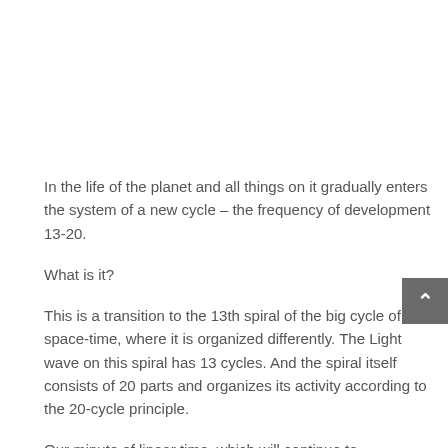In the life of the planet and all things on it gradually enters the system of a new cycle – the frequency of development 13-20.
What is it?
This is a transition to the 13th spiral of the big cycle of space-time, where it is organized differently. The Light wave on this spiral has 13 cycles. And the spiral itself consists of 20 parts and organizes its activity according to the 20-cycle principle.
Our minute of linear time, which will continue to